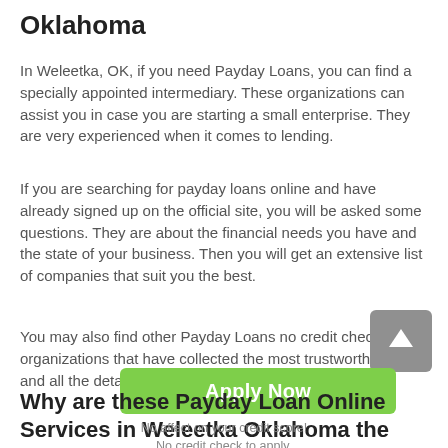Oklahoma
In Weleetka, OK, if you need Payday Loans, you can find a specially appointed intermediary. These organizations can assist you in case you are starting a small enterprise. They are very experienced when it comes to lending.
If you are searching for payday loans online and have already signed up on the official site, you will be asked some questions. They are about the financial needs you have and the state of your business. Then you will get an extensive list of companies that suit you the best.
You may also find other Payday Loans no credit check organizations that have collected the most trustworthy MFIs and all the details about their work.
[Figure (other): Grey scroll-to-top button with upward arrow]
[Figure (other): Green Apply Now button]
Why are these Payday Loan Online Services in Weleetka Oklahoma the best?
No affect on your credit score!
No credit check to apply.